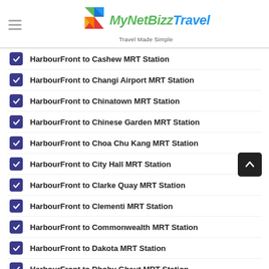MyNetBizz Travel — Travel Made Simple
HarbourFront to Cashew MRT Station
HarbourFront to Changi Airport MRT Station
HarbourFront to Chinatown MRT Station
HarbourFront to Chinese Garden MRT Station
HarbourFront to Choa Chu Kang MRT Station
HarbourFront to City Hall MRT Station
HarbourFront to Clarke Quay MRT Station
HarbourFront to Clementi MRT Station
HarbourFront to Commonwealth MRT Station
HarbourFront to Dakota MRT Station
HarbourFront to Dhoby Ghaut MRT Station